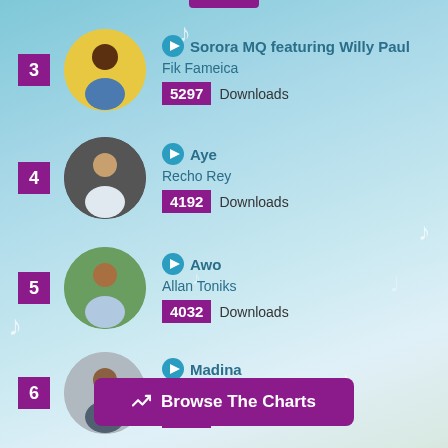3 - Sorora MQ featuring Willy Paul - Fik Fameica - 5297 Downloads
4 - Aye - Recho Rey - 4192 Downloads
5 - Awo - Allan Toniks - 4032 Downloads
6 - Madina - Nince Henry - 3868 Downloads
Browse The Charts